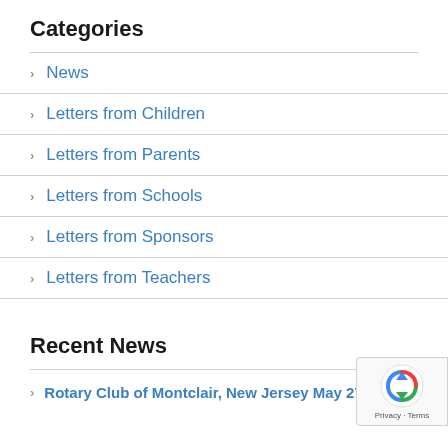Categories
News
Letters from Children
Letters from Parents
Letters from Schools
Letters from Sponsors
Letters from Teachers
Recent News
Rotary Club of Montclair, New Jersey May 27, 2022